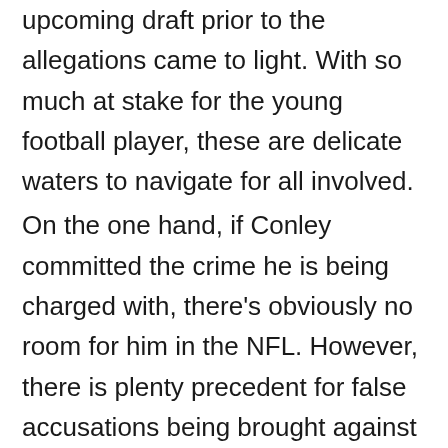Conley was expected to be a first round in the upcoming draft prior to the allegations came to light. With so much at stake for the young football player, these are delicate waters to navigate for all involved. On the one hand, if Conley committed the crime he is being charged with, there's obviously no room for him in the NFL. However, there is plenty precedent for false accusations being brought against talented players who are about to cash in big. With the draft only one day away, there will be no definitive answers before teams are faced with decision of whether or not to take the gamble in drafting Conley.